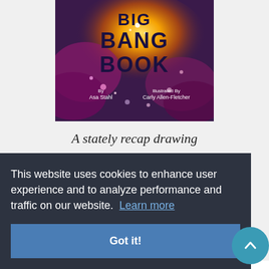[Figure (illustration): Book cover showing 'BIG BANG BOOK' title in bold dark purple text over a colorful cosmic explosion background with purple and golden tones. Credits: By Asa Stahl, Illustrated By Carly Allen-Fletcher]
A stately recap drawing
This website uses cookies to enhance user experience and to analyze performance and traffic on our website. Learn more
Got it!